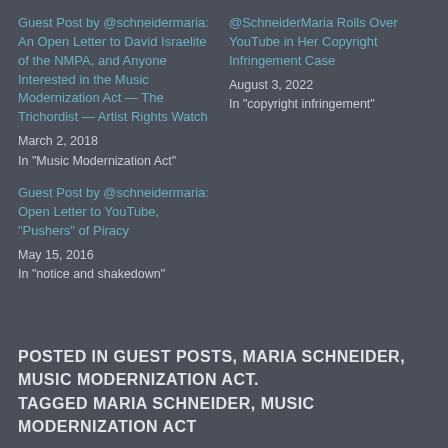Guest Post by @schneidermaria: An Open Letter to David Israelite of the NMPA, and Anyone Interested in the Music Modernization Act — The Trichordist — Artist Rights Watch
March 2, 2018
In "Music Modernization Act"
@SchneiderMaria Rolls Over YouTube in Her Copyright Infringement Case
August 3, 2022
In "copyright infringement"
Guest Post by @schneidermaria: Open Letter to YouTube, "Pushers" of Piracy
May 15, 2016
In "notice and shakedown"
POSTED IN GUEST POSTS, MARIA SCHNEIDER, MUSIC MODERNIZATION ACT.
TAGGED MARIA SCHNEIDER, MUSIC MODERNIZATION ACT